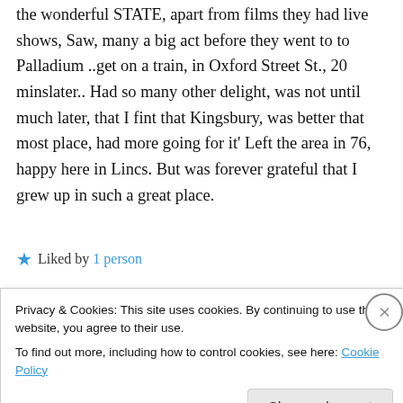the wonderful STATE, apart from films they had live shows, Saw, many a big act before they went to to Palladium ..get on a train, in Oxford Street St., 20 minslater.. Had so many other delight, was not until much later, that I fint that Kingsbury, was better that most place, had more going for it' Left the area in 76, happy here in Lincs. But was forever grateful that I grew up in such a great place.
★ Liked by 1 person
Privacy & Cookies: This site uses cookies. By continuing to use this website, you agree to their use.
To find out more, including how to control cookies, see here: Cookie Policy
Close and accept